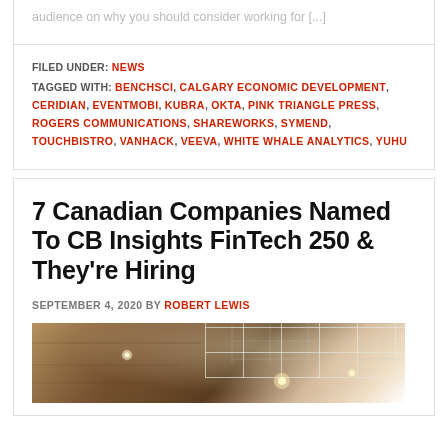audience on why you should consider working for […]
FILED UNDER: NEWS
TAGGED WITH: BENCHSCI, CALGARY ECONOMIC DEVELOPMENT, CERIDIAN, EVENTMOBI, KUBRA, OKTA, PINK TRIANGLE PRESS, ROGERS COMMUNICATIONS, SHAREWORKS, SYMEND, TOUCHBISTRO, VANHACK, VEEVA, WHITE WHALE ANALYTICS, YUHU
7 Canadian Companies Named To CB Insights FinTech 250 & They're Hiring
SEPTEMBER 4, 2020 BY ROBERT LEWIS
[Figure (photo): Interior photo of an office space with brown wood paneling ceiling and recessed lighting, taken from below looking up at an angle.]